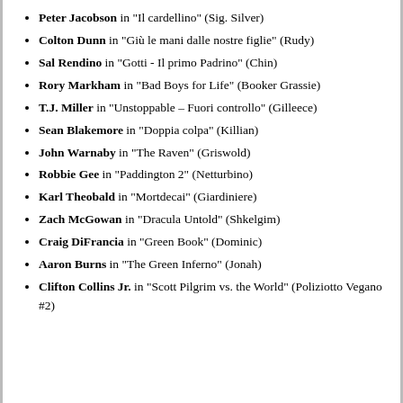Peter Jacobson in "Il cardellino" (Sig. Silver)
Colton Dunn in "Giù le mani dalle nostre figlie" (Rudy)
Sal Rendino in "Gotti - Il primo Padrino" (Chin)
Rory Markham in "Bad Boys for Life" (Booker Grassie)
T.J. Miller in "Unstoppable – Fuori controllo" (Gilleece)
Sean Blakemore in "Doppia colpa" (Killian)
John Warnaby in "The Raven" (Griswold)
Robbie Gee in "Paddington 2" (Netturbino)
Karl Theobald in "Mortdecai" (Giardiniere)
Zach McGowan in "Dracula Untold" (Shkelgim)
Craig DiFrancia in "Green Book" (Dominic)
Aaron Burns in "The Green Inferno" (Jonah)
Clifton Collins Jr. in "Scott Pilgrim vs. the World" (Poliziotto Vegano #2)